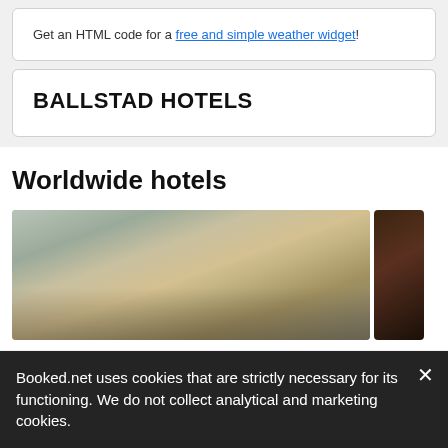Get an HTML code for a free and simple weather widget!
BALLSTAD HOTELS
Worldwide hotels
[Figure (photo): Hotel room photo showing a bed with pillows, nightstand, and lamp]
Booked.net uses cookies that are strictly necessary for its functioning. We do not collect analytical and marketing cookies.